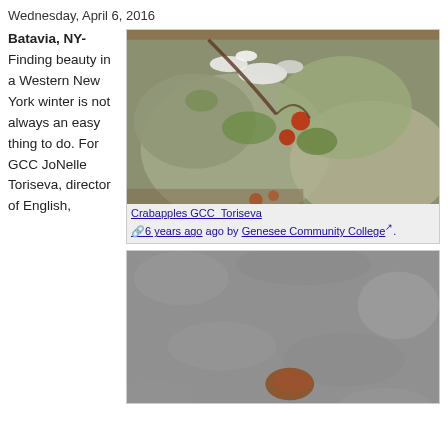Wednesday, April 6, 2016
Batavia, NY- Finding beauty in a Western New York winter is not always an easy thing to do. For GCC JoNelle Toriseva, director of English,
[Figure (photo): Photo of crabapples on mossy rocks with snow, winter scene]
Crabapples GCC_Toriseva
6 years ago ago by Genesee Community College.
[Figure (photo): Close-up photo of icy/snowy pavement or ground with a reddish-brown leaf or object visible]